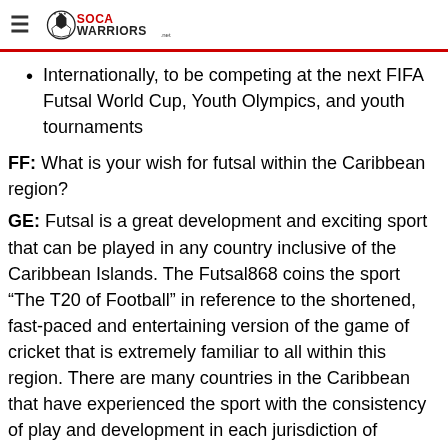SocaWarriors.net
Internationally, to be competing at the next FIFA Futsal World Cup, Youth Olympics, and youth tournaments
FF: What is your wish for futsal within the Caribbean region?
GE: Futsal is a great development and exciting sport that can be played in any country inclusive of the Caribbean Islands. The Futsal868 coins the sport “The T20 of Football” in reference to the shortened, fast-paced and entertaining version of the game of cricket that is extremely familiar to all within this region. There are many countries in the Caribbean that have experienced the sport with the consistency of play and development in each jurisdiction of varying degrees. Thus, it is my wish that Caribbean Sporting Administrators recognize the tremendous positive economic, social, and developmental value of futsal on their Island. Additionally, decision-makers